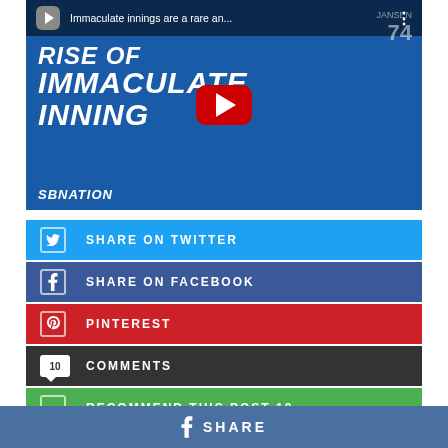[Figure (screenshot): YouTube video thumbnail for SBNation video titled 'Immaculate innings are a rare an...' showing 'RISE OF IMMACULATE INNING' text with baseball players and a red YouTube play button in the center. SBNation logo at bottom left.]
SHARE ON TWITTER
SHARE ON FACEBOOK
PINTEREST
10 COMMENTS
RECOMMEND THIS POST 10
f SHARE